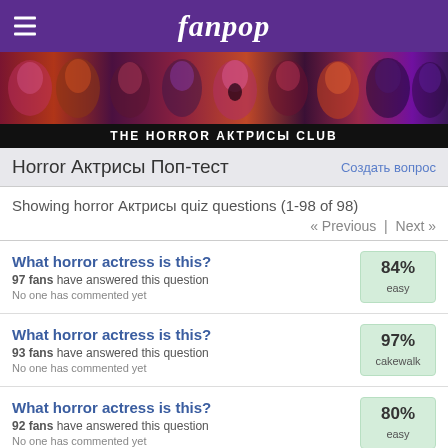fanpop
[Figure (photo): Horror movie collage banner with various actress faces in red/purple tones]
THE HORROR АКТРИСЫ CLUB
Horror Актрисы Поп-тест
Showing horror Актрисы quiz questions (1-98 of 98)
« Previous | Next »
What horror actress is this? — 97 fans have answered this question — No one has commented yet — 84% easy
What horror actress is this? — 93 fans have answered this question — No one has commented yet — 97% cakewalk
What horror actress is this? — 92 fans have answered this question — No one has commented yet — 80% easy
What movie in the фото is this actress in? — 91 fans have answered this question — 77% easy